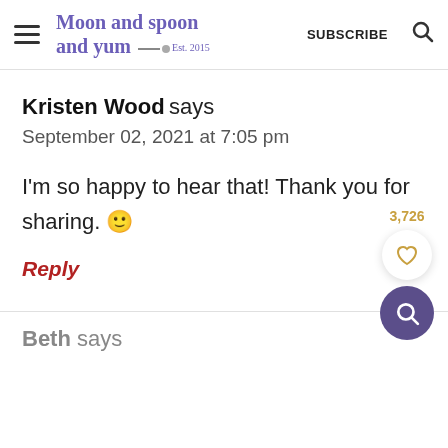Moon and spoon and yum — Est. 2015 | SUBSCRIBE
Kristen Wood says
September 02, 2021 at 7:05 pm
I'm so happy to hear that! Thank you for sharing. 🙂
Reply
Beth says